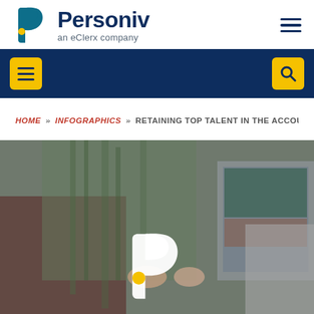[Figure (logo): Personiv logo with P icon and 'an eClerx company' tagline on white header bar with hamburger menu icon on right]
[Figure (screenshot): Dark navy navigation bar with yellow hamburger menu button on left and yellow search button on right]
HOME » INFOGRAPHICS » RETAINING TOP TALENT IN THE ACCOUNTIN
[Figure (photo): Hero image of office workers collaborating at a desk with laptop, bamboo plants in background, with Personiv P logo overlay in white and yellow at bottom center]